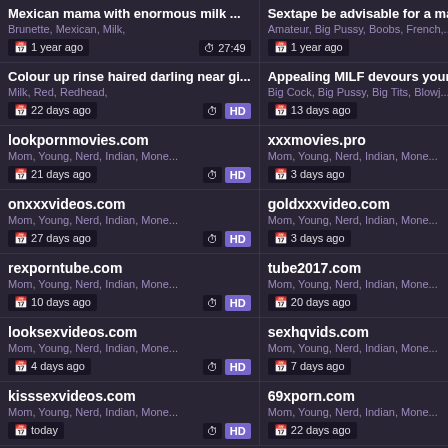Mexican mama with enormous milk ...
Sextape be advisable for a magnific...
Brunette, Mexican, Milk,
Amateur, Big Pussy, Boobs, French,...
1 year ago | 27:49
1 year ago | HD
Colour up rinse haired darling near gi...
Appealing MILF devours younger fla...
Milk, Red, Redhead,
Big Cock, Big Pussy, Big Tits, Blowj...
22 days ago | HD
13 days ago | HD
lookpornmovies.com
xxxmovies.pro
Mom, Young, Nerd, Indian, Mone...
Mom, Young, Nerd, Indian, Mone...
21 days ago | HD
3 days ago | HD
onxxxvideos.com
goldxxxvideo.com
Mom, Young, Nerd, Indian, Mone...
Mom, Young, Nerd, Indian, Mone...
27 days ago | HD
3 days ago | HD
rexporntube.com
tube2017.com
Mom, Young, Nerd, Indian, Mone...
Mom, Young, Nerd, Indian, Mone...
10 days ago | HD
20 days ago | HD
looksexvideos.com
sexhqvids.com
Mom, Young, Nerd, Indian, Mone...
Mom, Young, Nerd, Indian, Mone...
4 days ago | HD
7 days ago | HD
kisssexvideos.com
69xporn.com
Mom, Young, Nerd, Indian, Mone...
Mom, Young, Nerd, Indian, Mone...
today
22 days ago